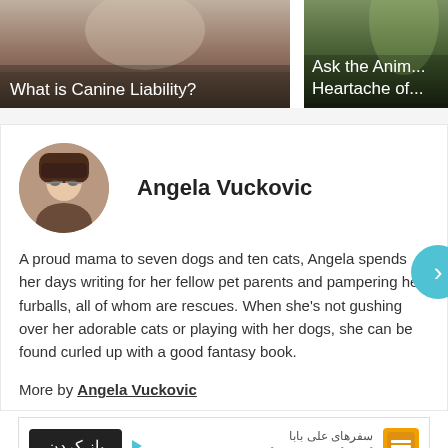[Figure (photo): Two article thumbnails side by side. Left: a photo of dogs with text overlay 'What is Canine Liability?'. Right: a partial photo with text overlay 'Ask the Anim... Heartache of...']
Angela Vuckovic
A proud mama to seven dogs and ten cats, Angela spends her days writing for her fellow pet parents and pampering her furballs, all of whom are rescues. When she's not gushing over her adorable cats or playing with her dogs, she can be found curled up with a good fantasy book.
More by Angela Vuckovic
[Figure (screenshot): Advertisement banner in Persian/Farsi with a dark button labeled 'باز کردن' (Open) and text 'سفرهای علی بابا / این تابستون برنامه سفرت']